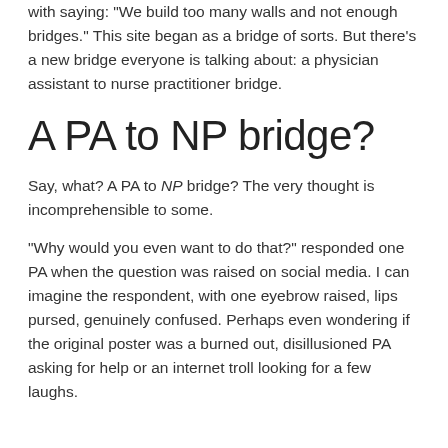with saying: "We build too many walls and not enough bridges." This site began as a bridge of sorts. But there's a new bridge everyone is talking about: a physician assistant to nurse practitioner bridge.
A PA to NP bridge?
Say, what? A PA to NP bridge? The very thought is incomprehensible to some.
“Why would you even want to do that?” responded one PA when the question was raised on social media. I can imagine the respondent, with one eyebrow raised, lips pursed, genuinely confused. Perhaps even wondering if the original poster was a burned out, disillusioned PA asking for help or an internet troll looking for a few laughs.